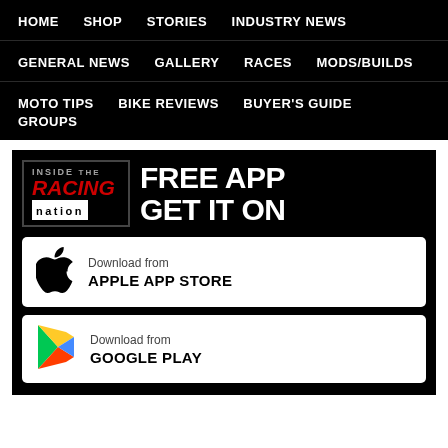HOME  SHOP  STORIES  INDUSTRY NEWS
GENERAL NEWS  GALLERY  RACES  MODS/BUILDS
MOTO TIPS  BIKE REVIEWS  BUYER'S GUIDE  GROUPS
[Figure (logo): Inside Racing Nation logo with FREE APP GET IT ON text]
[Figure (infographic): Download from APPLE APP STORE button with Apple logo]
[Figure (infographic): Download from GOOGLE PLAY button with Google Play logo]